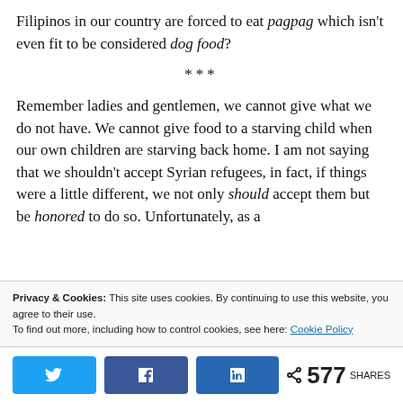Filipinos in our country are forced to eat pagpag which isn't even fit to be considered dog food?
***
Remember ladies and gentlemen, we cannot give what we do not have. We cannot give food to a starving child when our own children are starving back home. I am not saying that we shouldn't accept Syrian refugees, in fact, if things were a little different, we not only should accept them but be honored to do so. Unfortunately, as a
Privacy & Cookies: This site uses cookies. By continuing to use this website, you agree to their use.
To find out more, including how to control cookies, see here: Cookie Policy
577 SHARES